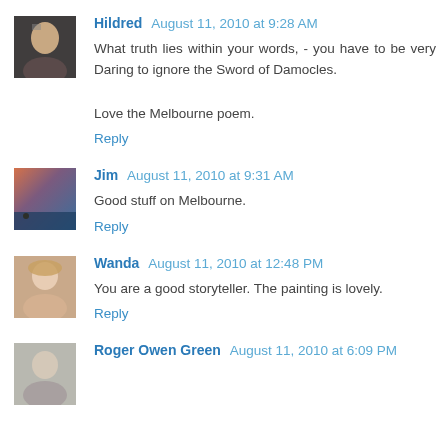Hildred  August 11, 2010 at 9:28 AM
What truth lies within your words, - you have to be very Daring to ignore the Sword of Damocles.

Love the Melbourne poem.

Reply
Jim  August 11, 2010 at 9:31 AM
Good stuff on Melbourne.

Reply
Wanda  August 11, 2010 at 12:48 PM
You are a good storyteller. The painting is lovely.

Reply
Roger Owen Green  August 11, 2010 at 6:09 PM